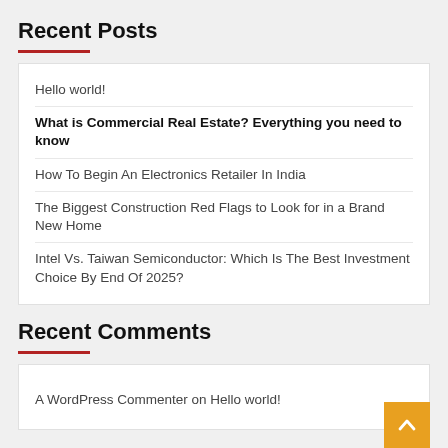Recent Posts
Hello world!
What is Commercial Real Estate? Everything you need to know
How To Begin An Electronics Retailer In India
The Biggest Construction Red Flags to Look for in a Brand New Home
Intel Vs. Taiwan Semiconductor: Which Is The Best Investment Choice By End Of 2025?
Recent Comments
A WordPress Commenter on Hello world!